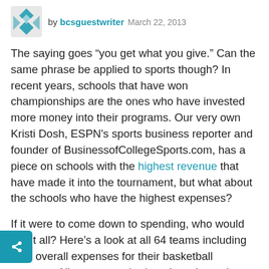by bcsguestwriter  March 22, 2013
The saying goes “you get what you give.” Can the same phrase be applied to sports though? In recent years, schools that have won championships are the ones who have invested more money into their programs. Our very own Kristi Dosh, ESPN’s sports business reporter and founder of BusinessofCollegeSports.com, has a piece on schools with the highest revenue that have made it into the tournament, but what about the schools who have the highest expenses?
If it were to come down to spending, who would win it all? Here’s a look at all 64 teams including their overall expenses for their basketball program. All games are broken down by region. The